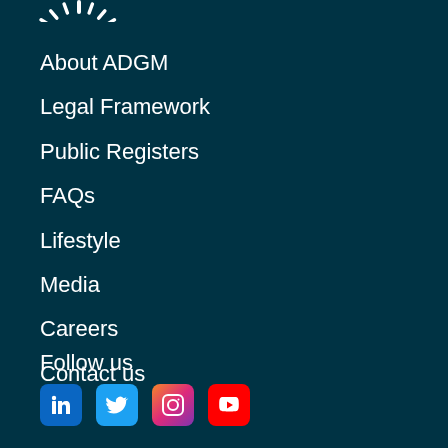[Figure (logo): ADGM logo partial sunburst at top]
About ADGM
Legal Framework
Public Registers
FAQs
Lifestyle
Media
Careers
Contact us
Follow us
[Figure (other): Social media icons: LinkedIn, Twitter, Instagram, YouTube]